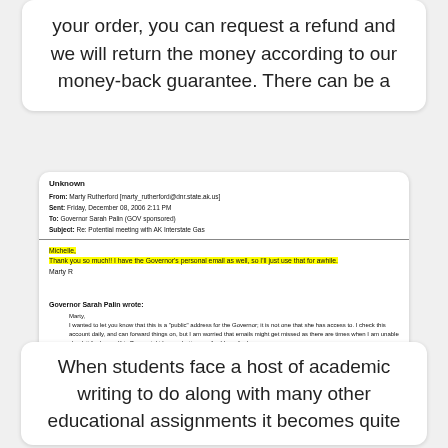your order, you can request a refund and we will return the money according to our money-back guarantee. There can be a
[Figure (screenshot): Email screenshot showing an email from Marty Rutherford to Governor Sarah Palin about a potential meeting with AK Interstate Gas, with highlighted text about using the Governor's personal email.]
When students face a host of academic writing to do along with many other educational assignments it becomes quite